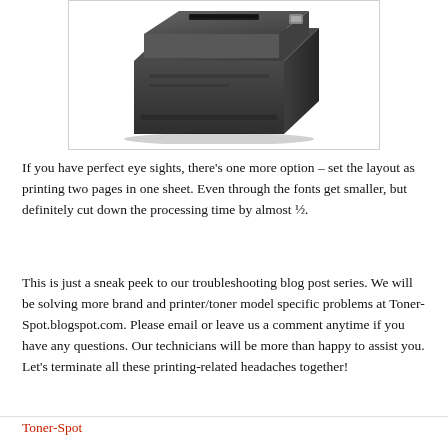[Figure (photo): Dark gray laser printer viewed from front-right angle, showing top and front panels with a paper slot/output tray area at top.]
If you have perfect eye sights, there’s one more option – set the layout as printing two pages in one sheet. Even through the fonts get smaller, but definitely cut down the processing time by almost ½.
This is just a sneak peek to our troubleshooting blog post series. We will be solving more brand and printer/toner model specific problems at Toner-Spot.blogspot.com. Please email or leave us a comment anytime if you have any questions. Our technicians will be more than happy to assist you. Let’s terminate all these printing-related headaches together!
Toner-Spot